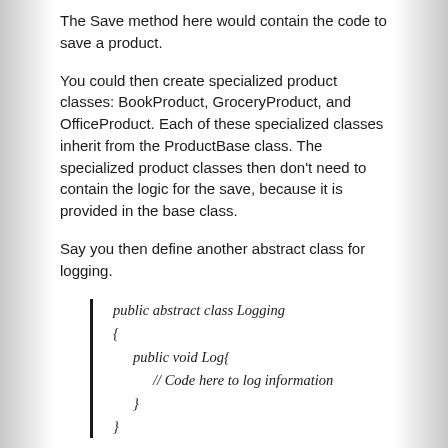The Save method here would contain the code to save a product.
You could then create specialized product classes: BookProduct, GroceryProduct, and OfficeProduct. Each of these specialized classes inherit from the ProductBase class. The specialized product classes then don't need to contain the logic for the save, because it is provided in the base class.
Say you then define another abstract class for logging.
[Figure (other): Code block showing a public abstract class Logging with a public void Log method containing a comment '// Code here to log information']